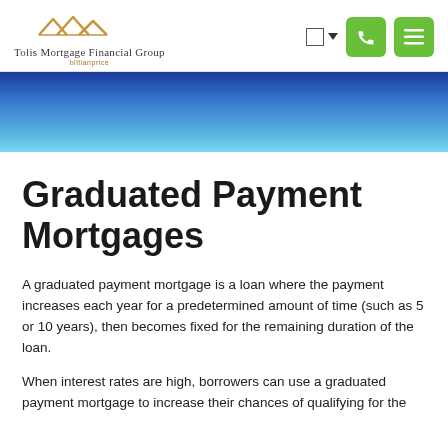[Figure (logo): Tolis Mortgage Financial Group logo with house roofline illustration and company name]
[Figure (illustration): Blue gradient banner/hero image strip]
Graduated Payment Mortgages
A graduated payment mortgage is a loan where the payment increases each year for a predetermined amount of time (such as 5 or 10 years), then becomes fixed for the remaining duration of the loan.
When interest rates are high, borrowers can use a graduated payment mortgage to increase their chances of qualifying for the